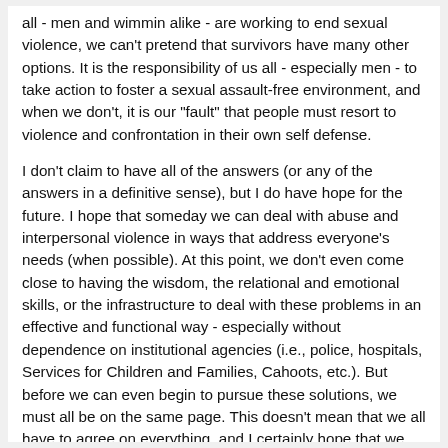all - men and wimmin alike - are working to end sexual violence, we can't pretend that survivors have many other options. It is the responsibility of us all - especially men - to take action to foster a sexual assault-free environment, and when we don't, it is our "fault" that people must resort to violence and confrontation in their own self defense.
I don't claim to have all of the answers (or any of the answers in a definitive sense), but I do have hope for the future. I hope that someday we can deal with abuse and interpersonal violence in ways that address everyone's needs (when possible). At this point, we don't even come close to having the wisdom, the relational and emotional skills, or the infrastructure to deal with these problems in an effective and functional way - especially without dependence on institutional agencies (i.e., police, hospitals, Services for Children and Families, Cahoots, etc.). But before we can even begin to pursue these solutions, we must all be on the same page. This doesn't mean that we all have to agree on everything, and I certainly hope that we don't! It does mean that we have to be willing to give up the power we wield when we assume the authority to define the experiences of others. It means that we are going to have to deconstruct the ways in which we oppress others and have privilege, and give up